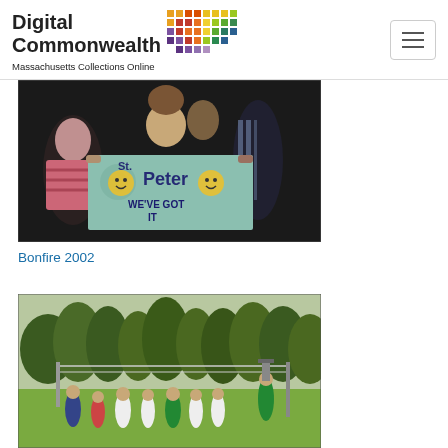Digital Commonwealth — Massachusetts Collections Online
[Figure (photo): People holding up a tie-dye t-shirt that reads 'St. Peter WE'VE GOT IT' with smiley faces, taken at night indoors.]
Bonfire 2002
[Figure (photo): People playing volleyball outdoors on a grass field with trees in the background.]